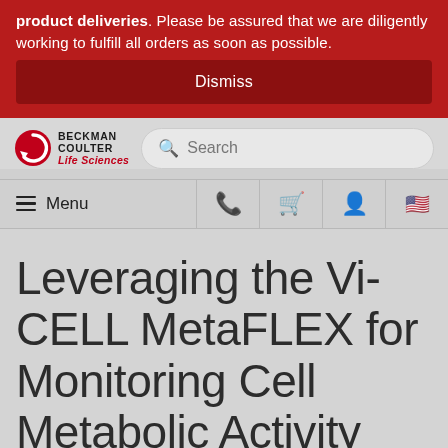product deliveries. Please be assured that we are diligently working to fulfill all orders as soon as possible.
Dismiss
[Figure (logo): Beckman Coulter Life Sciences logo with red circular arrow icon]
Search
Menu
Leveraging the Vi-CELL MetaFLEX for Monitoring Cell Metabolic Activity